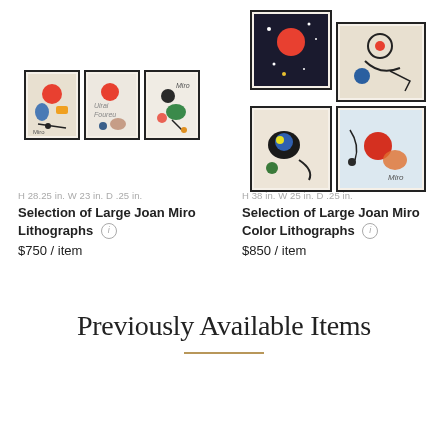[Figure (photo): Three framed Joan Miro lithographs side by side]
H 28.25 in. W 23 in. D .25 in.
Selection of Large Joan Miro Lithographs
$750 / item
[Figure (photo): Four framed Joan Miro color lithographs in 2x2 grid]
H 38 in. W 25 in. D .25 in.
Selection of Large Joan Miro Color Lithographs
$850 / item
Previously Available Items